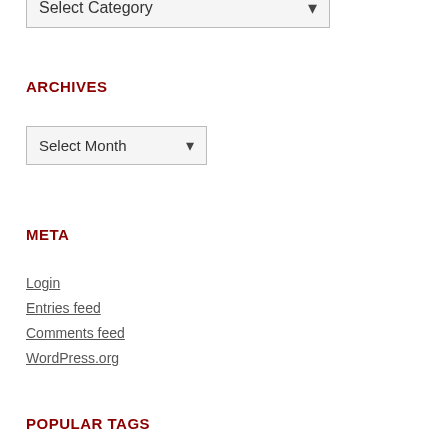[Figure (other): Dropdown select box labeled 'Select Category' partially visible at top of page]
ARCHIVES
[Figure (other): Dropdown select box labeled 'Select Month']
META
Login
Entries feed
Comments feed
WordPress.org
POPULAR TAGS